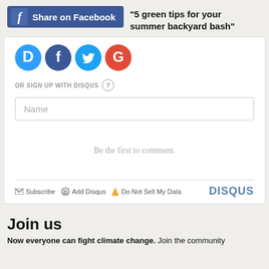[Figure (screenshot): Facebook Share button with 'f' icon and 'Share on Facebook' text in blue button]
"5 green tips for your summer backyard bash"
[Figure (screenshot): Social login icons: Disqus (blue D), Facebook (blue f), Twitter (blue bird), Google (red G)]
OR SIGN UP WITH DISQUS ?
Name
Be the first to comment.
Subscribe  Add Disqus  Do Not Sell My Data  DISQUS
Join us
Now everyone can fight climate change. Join the community